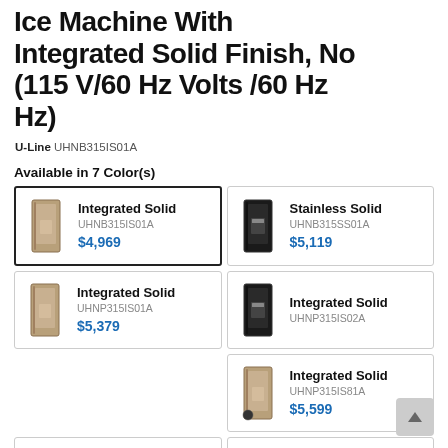Ice Machine With Integrated Solid Finish, No (115 V/60 Hz Volts /60 Hz Hz)
U-Line UHNB315IS01A
Available in 7 Color(s)
| Image | Name | SKU | Price |
| --- | --- | --- | --- |
| [img] | Integrated Solid | UHNB315IS01A | $4,969 |
| [img] | Stainless Solid | UHNB315SS01A | $5,119 |
| [img] | Integrated Solid | UHNP315IS01A | $5,379 |
| [img] | Integrated Solid | UHNP315IS02A |  |
| [img] | Integrated Solid | UHNP315IS81A | $5,599 |
| [img] | Stainless Solid | UHNP315SS01A | $5,529 |
| [img] | Stainless Solid | UHNP315SS81A | $5,739 |